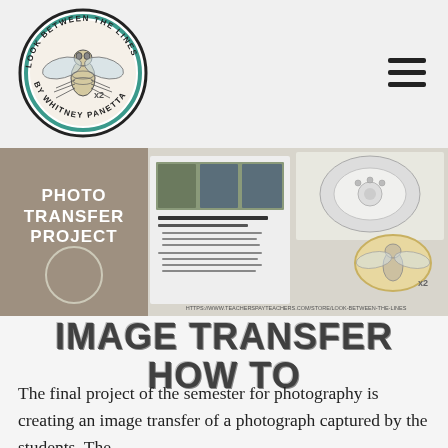[Figure (logo): Circular logo: 'Look Between the Lines by Whitney Panetta' with a detailed fly illustration in the center, teal and black border rings]
[Figure (photo): Banner image showing a Photo Transfer Project worksheet, photos of succulents, a vintage phone, and a decorative fly cutout labeled x2, with URL HTTPS://WWW.TEACHERSPAYTEACHERS.COM/STORE/LOOK-BETWEEN-THE-LINES]
IMAGE TRANSFER HOW TO
The final project of the semester for photography is creating an image transfer of a photograph captured by the students. The